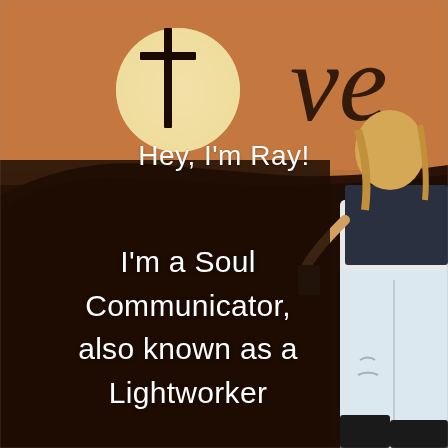[Figure (photo): Background photo of a woman in white jeans and dark top standing against a mural wall with a cross and cursive 'love' text painted on it. The mural has warm orange/brown tones at the top and dark brown/black tones in the lower portion.]
Hey, I'm Ray!
I'm a Soul Communicator, also known as a Lightworker